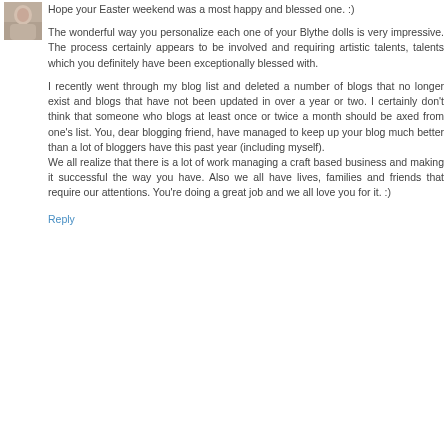[Figure (photo): Small avatar/profile photo of a person, partially visible, grayscale/muted tones]
Hope your Easter weekend was a most happy and blessed one. :)
The wonderful way you personalize each one of your Blythe dolls is very impressive. The process certainly appears to be involved and requiring artistic talents, talents which you definitely have been exceptionally blessed with.
I recently went through my blog list and deleted a number of blogs that no longer exist and blogs that have not been updated in over a year or two. I certainly don't think that someone who blogs at least once or twice a month should be axed from one's list. You, dear blogging friend, have managed to keep up your blog much better than a lot of bloggers have this past year (including myself).
We all realize that there is a lot of work managing a craft based business and making it successful the way you have. Also we all have lives, families and friends that require our attentions. You're doing a great job and we all love you for it. :)
Reply